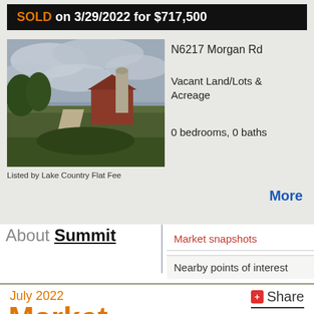SOLD on 3/29/2022 for $717,500
[Figure (photo): Exterior photo of rural property showing a gravel path, overgrown vegetation, a red barn structure, and a grain silo under a cloudy sky.]
Listed by Lake Country Flat Fee
N6217 Morgan Rd
Vacant Land/Lots & Acreage
0 bedrooms, 0 baths
More
About Summit
Market snapshots
Nearby points of interest
July 2022
Market
Share